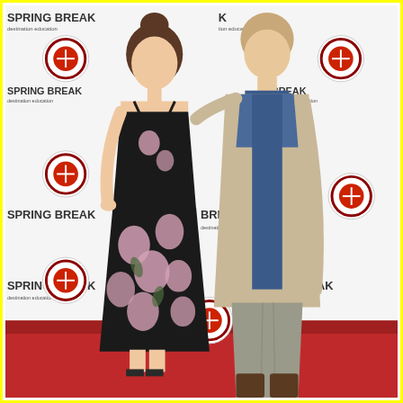[Figure (photo): Two people posing on a red carpet in front of a step-and-repeat banner reading 'SPRING BREAK Destination Education' with City Year logos. A young woman on the left wears a black floral sundress with pink poppy flowers and strappy heels, hair up in a bun. A taller young man on the right wears a two-tone denim/canvas jacket over a blue shirt with grey slacks and brown boots. The carpet is red. The image is bordered by a yellow outline.]